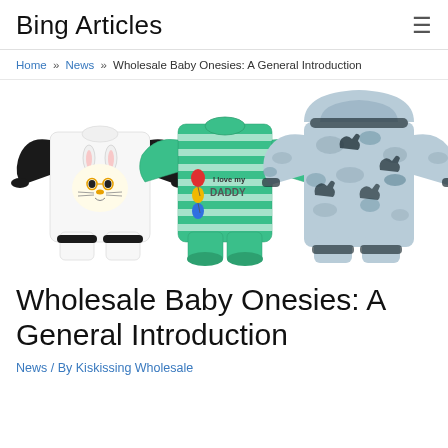Bing Articles
Home » News » Wholesale Baby Onesies: A General Introduction
[Figure (photo): Three baby onesies: left is white with bunny design and black sleeves, center is green striped with 'I love my DADDY' text, right is hooded with dinosaur/camo pattern]
Wholesale Baby Onesies: A General Introduction
News / By Kiskissing Wholesale